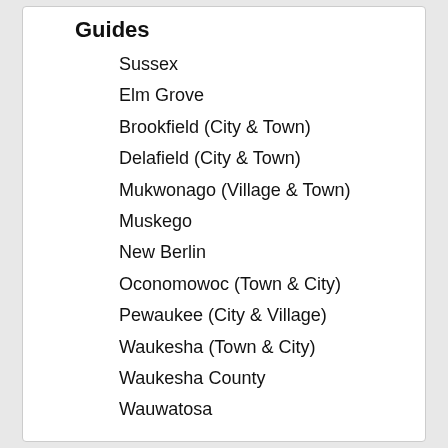Guides
Sussex
Elm Grove
Brookfield (City & Town)
Delafield (City & Town)
Mukwonago (Village & Town)
Muskego
New Berlin
Oconomowoc (Town & City)
Pewaukee (City & Village)
Waukesha (Town & City)
Waukesha County
Wauwatosa